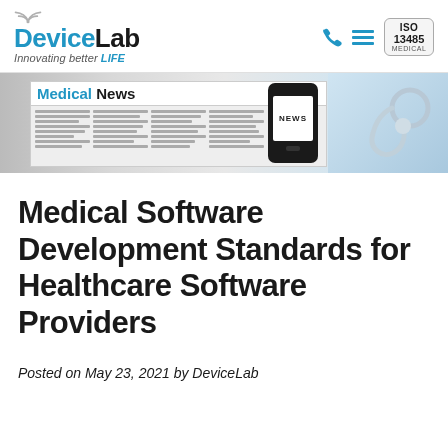DeviceLab — Innovating better LIFE
[Figure (illustration): Medical News banner with newspaper, smartphone showing NEWS, and stethoscope on blue background]
Medical Software Development Standards for Healthcare Software Providers
Posted on May 23, 2021 by DeviceLab